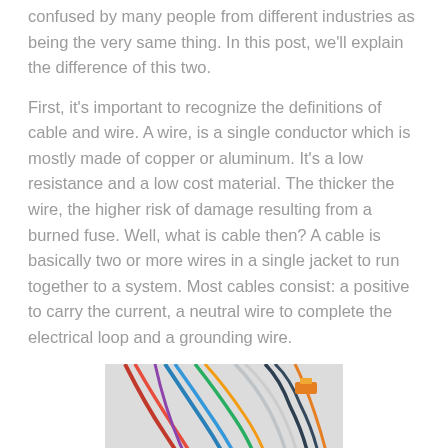confused by many people from different industries as being the very same thing. In this post, we'll explain the difference of this two.
First, it's important to recognize the definitions of cable and wire. A wire, is a single conductor which is mostly made of copper or aluminum. It's a low resistance and a low cost material. The thicker the wire, the higher risk of damage resulting from a burned fuse. Well, what is cable then? A cable is basically two or more wires in a single jacket to run together to a system. Most cables consist: a positive to carry the current, a neutral wire to complete the electrical loop and a grounding wire.
[Figure (photo): Photograph of a bundle of colorful electrical wires (red, blue, green, yellow, black, white) tangled together on a white surface, with a metal component visible.]